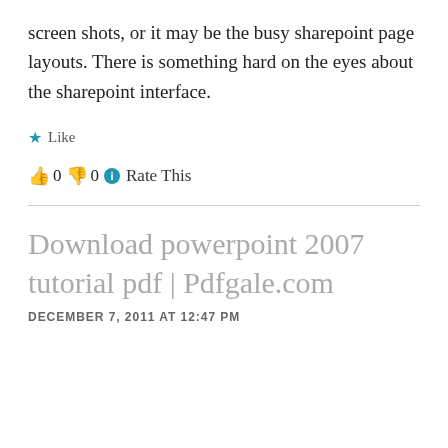screen shots, or it may be the busy sharepoint page layouts. There is something hard on the eyes about the sharepoint interface.
★ Like
👍 0 👎 0 ℹ Rate This
Download powerpoint 2007 tutorial pdf | Pdfgale.com
DECEMBER 7, 2011 AT 12:47 PM